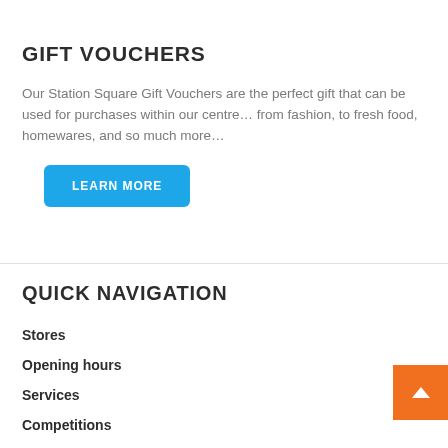GIFT VOUCHERS
Our Station Square Gift Vouchers are the perfect gift that can be used for purchases within our centre… from fashion, to fresh food, homewares, and so much more…
LEARN MORE
QUICK NAVIGATION
Stores
Opening hours
Services
Competitions